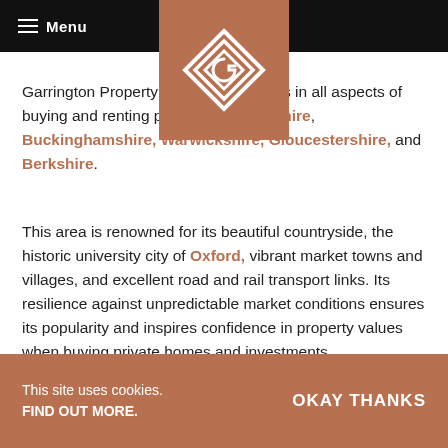Menu
[Figure (logo): Garrington Property Finders logo — geometric diamond/G shape in white on a bronze/copper square background]
Garrington Property Finders specialises in all aspects of buying and renting property in Oxfordshire, Buckinghamshire, Warwickshire, Gloucestershire, and Berkshire.
This area is renowned for its beautiful countryside, the historic university city of Oxford, vibrant market towns and villages, and excellent road and rail transport links. Its resilience against unpredictable market conditions ensures its popularity and inspires confidence in property values when buying private homes and investments.
This site uses cookies. FIND OUT MORE.    OKAY THANKS